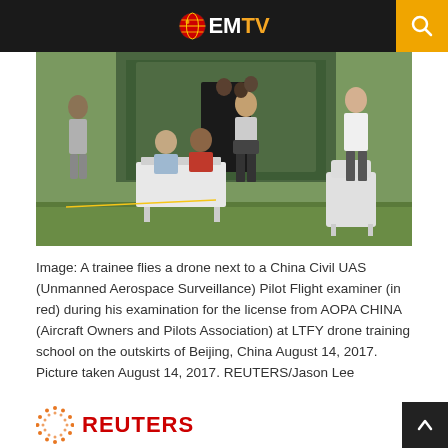EMTV
[Figure (photo): A group of young men near a military-style tent on grassy ground. A trainee in the center holds a drone controller. Others sit at a white table. A white plastic chair is visible on the right.]
Image: A trainee flies a drone next to a China Civil UAS (Unmanned Aerospace Surveillance) Pilot Flight examiner (in red) during his examination for the license from AOPA CHINA (Aircraft Owners and Pilots Association) at LTFY drone training school on the outskirts of Beijing, China August 14, 2017. Picture taken August 14, 2017. REUTERS/Jason Lee
[Figure (logo): Reuters logo: orange dotted globe circle followed by REUTERS in bold red text]